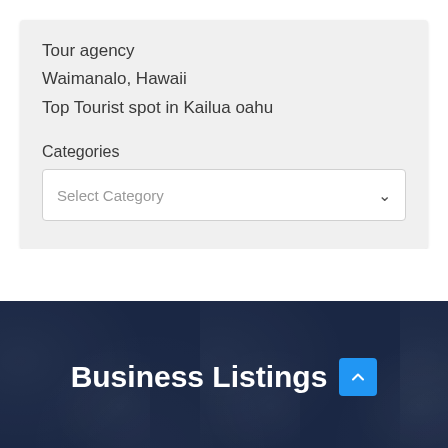Tour agency
Waimanalo, Hawaii
Top Tourist spot in Kailua oahu
Categories
Select Category
Business Listings